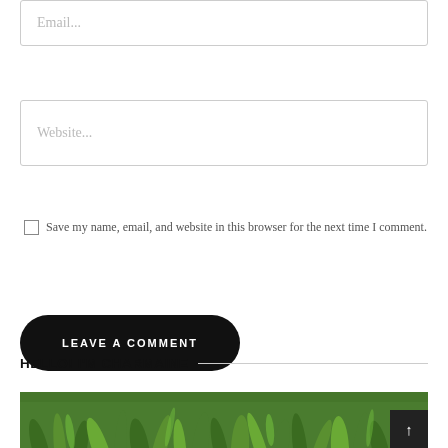Email...
Website...
Save my name, email, and website in this browser for the next time I comment.
LEAVE A COMMENT
HELLO! I'M CHARMAINE
[Figure (photo): Green plant with long narrow leaves, lush foliage]